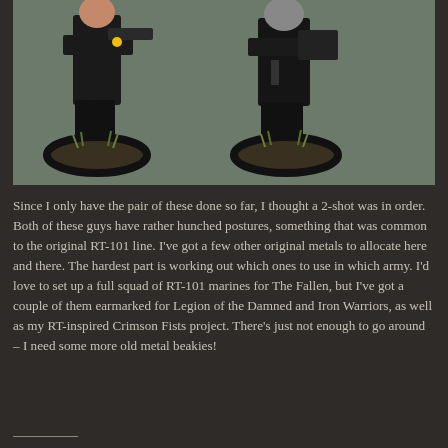[Figure (photo): Two painted miniature figures (Space Marines/Rogue Trader era) in black armor with hunched postures, standing on round bases with grass tufts, photographed against a grey-green background.]
Since I only have the pair of these done so far, I thought a 2-shot was in order. Both of these guys have rather hunched postures, something that was common to the original RT-101 line. I've got a few other original metals to allocate here and there. The hardest part is working out which ones to use in which army. I'd love to set up a full squad of RT-101 marines for The Fallen, but I've got a couple of them earmarked for Legion of the Damned and Iron Warriors, as well as my RT-inspired Crimson Fists project. There's just not enough to go around – I need some more old metal beakies!